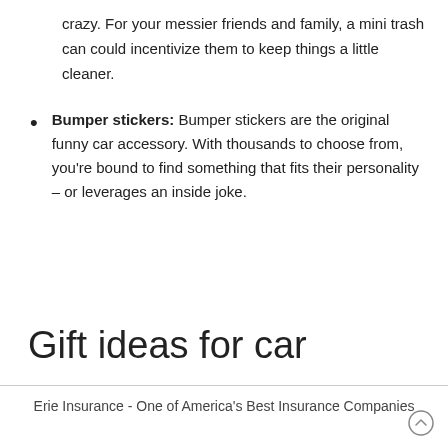crazy. For your messier friends and family, a mini trash can could incentivize them to keep things a little cleaner.
Bumper stickers: Bumper stickers are the original funny car accessory. With thousands to choose from, you're bound to find something that fits their personality – or leverages an inside joke.
Gift ideas for car
Erie Insurance - One of America's Best Insurance Companies